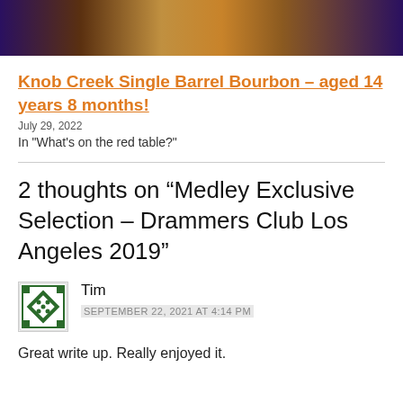[Figure (photo): Cropped photo showing a bottle of bourbon and a glass on a dark purple/blue background]
Knob Creek Single Barrel Bourbon – aged 14 years 8 months!
July 29, 2022
In "What's on the red table?"
2 thoughts on “Medley Exclusive Selection – Drammers Club Los Angeles 2019”
Tim
SEPTEMBER 22, 2021 AT 4:14 PM
Great write up. Really enjoyed it.